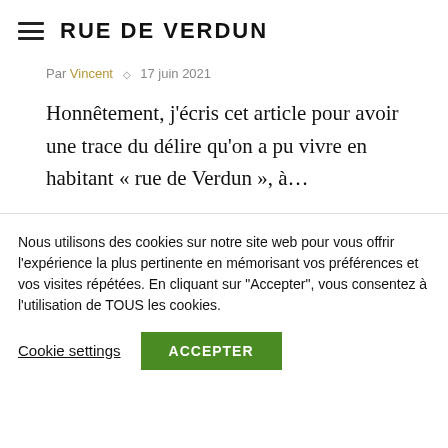RUE DE VERDUN
Par Vincent ◇ 17 juin 2021
Honnêtement, j'écris cet article pour avoir une trace du délire qu'on a pu vivre en habitant « rue de Verdun », à...
Nous utilisons des cookies sur notre site web pour vous offrir l'expérience la plus pertinente en mémorisant vos préférences et vos visites répétées. En cliquant sur "Accepter", vous consentez à l'utilisation de TOUS les cookies.
Cookie settings | ACCEPTER